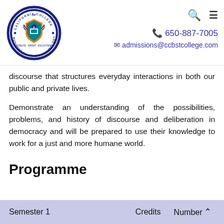[Figure (logo): California College of Business Science & Technology circular logo with shield emblem]
650-887-7005
admissions@ccbstcollege.com
discourse that structures everyday interactions in both our public and private lives.
Demonstrate an understanding of the possibilities, problems, and history of discourse and deliberation in democracy and will be prepared to use their knowledge to work for a just and more humane world.
Programme
| Semester 1 | Credits | Number |
| --- | --- | --- |